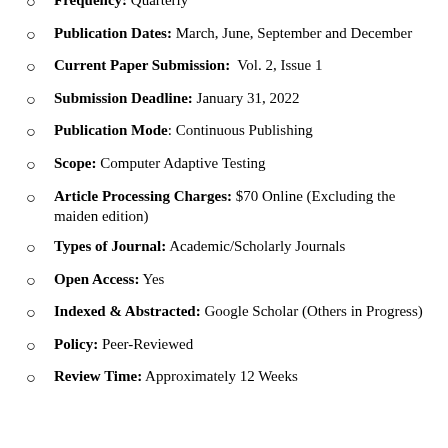Frequency: Quarterly
Publication Dates: March, June, September and December
Current Paper Submission: Vol. 2, Issue 1
Submission Deadline: January 31, 2022
Publication Mode: Continuous Publishing
Scope: Computer Adaptive Testing
Article Processing Charges: $70 Online (Excluding the maiden edition)
Types of Journal: Academic/Scholarly Journals
Open Access: Yes
Indexed & Abstracted: Google Scholar (Others in Progress)
Policy: Peer-Reviewed
Review Time: Approximately 12 Weeks